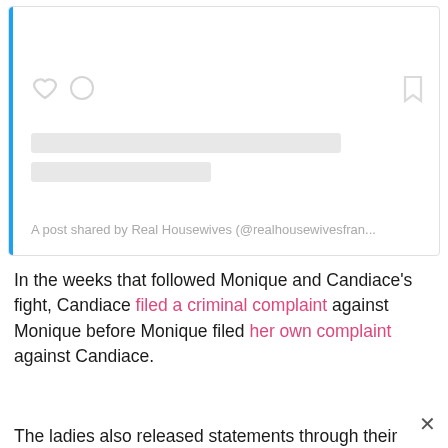[Figure (screenshot): Embedded social media post card with a blue left border, heart and comment icons, bookmark icon, two gray placeholder bars for content, and a caption reading 'A post shared by Real Housewives (@realhousewivesfran...']
In the weeks that followed Monique and Candiace's fight, Candiace filed a criminal complaint against Monique before Monique filed her own complaint against Candiace.
The ladies also released statements through their